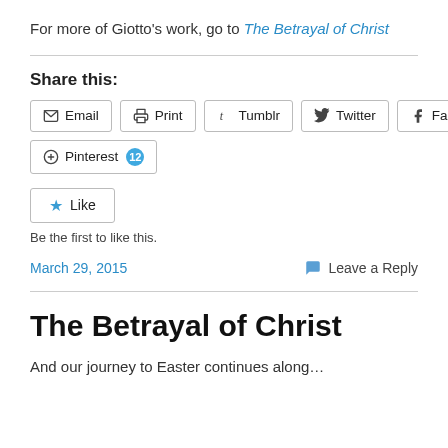For more of Giotto’s work, go to The Betrayal of Christ
Share this:
Email
Print
Tumblr
Twitter
Facebook
Pinterest 12
Like
Be the first to like this.
March 29, 2015
Leave a Reply
The Betrayal of Christ
And our journey to Easter continues along…